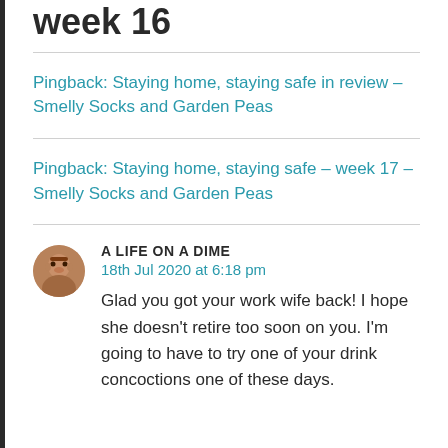week 16
Pingback: Staying home, staying safe in review – Smelly Socks and Garden Peas
Pingback: Staying home, staying safe – week 17 – Smelly Socks and Garden Peas
A LIFE ON A DIME
18th Jul 2020 at 6:18 pm

Glad you got your work wife back! I hope she doesn't retire too soon on you. I'm going to have to try one of your drink concoctions one of these days.